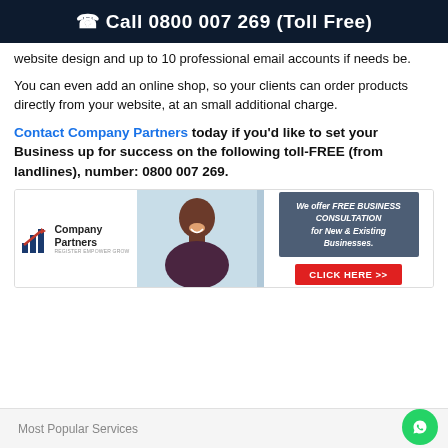☎ Call 0800 007 269 (Toll Free)
website design and up to 10 professional email accounts if needs be.
You can even add an online shop, so your clients can order products directly from your website, at an small additional charge.
Contact Company Partners today if you'd like to set your Business up for success on the following toll-FREE (from landlines), number: 0800 007 269.
[Figure (infographic): Company Partners banner ad with logo, photo of smiling man, and a blue box offering free business consultation with a red CLICK HERE >> button]
Most Popular Services